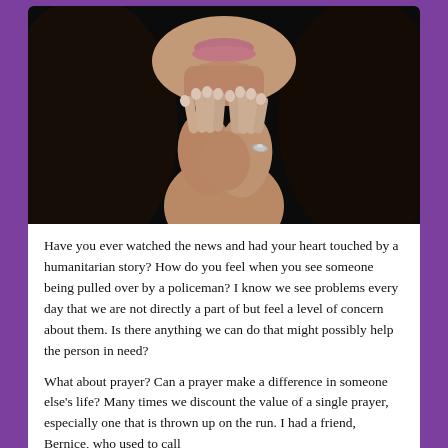[Figure (photo): A woman with dark hair holding her hands together in a prayer position near her chin/lips. She is wearing a ring. The background is dark/black. Close-up shot showing face from nose down and hands.]
Have you ever watched the news and had your heart touched by a humanitarian story? How do you feel when you see someone being pulled over by a policeman? I know we see problems every day that we are not directly a part of but feel a level of concern about them. Is there anything we can do that might possibly help the person in need?
What about prayer? Can a prayer make a difference in someone else's life? Many times we discount the value of a single prayer, especially one that is thrown up on the run. I had a friend, Bernice, who used to call